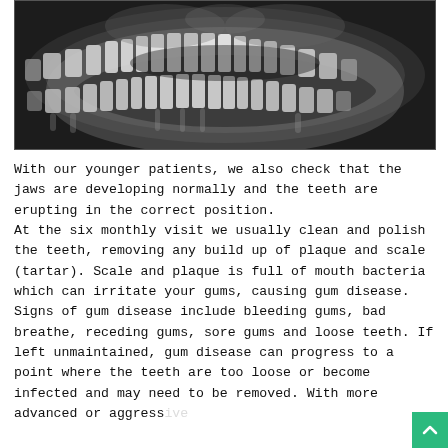[Figure (photo): Black and white panoramic dental X-ray showing upper and lower jaw with all teeth visible, including wisdom teeth and developing teeth roots.]
With our younger patients, we also check that the jaws are developing normally and the teeth are erupting in the correct position. At the six monthly visit we usually clean and polish the teeth, removing any build up of plaque and scale (tartar). Scale and plaque is full of mouth bacteria which can irritate your gums, causing gum disease. Signs of gum disease include bleeding gums, bad breathe, receding gums, sore gums and loose teeth. If left unmaintained, gum disease can progress to a point where the teeth are too loose or become infected and may need to be removed. With more advanced or aggressive